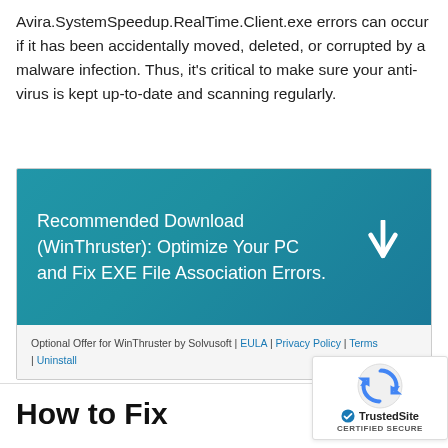Avira.SystemSpeedup.RealTime.Client.exe errors can occur if it has been accidentally moved, deleted, or corrupted by a malware infection. Thus, it's critical to make sure your anti-virus is kept up-to-date and scanning regularly.
[Figure (other): WinThruster download banner with teal/blue gradient background, text reading 'Recommended Download (WinThruster): Optimize Your PC and Fix EXE File Association Errors.' with a white downward arrow icon, and a light gray footer with legal links: Optional Offer for WinThruster by Solvusoft | EULA | Privacy Policy | Terms | Uninstall]
[Figure (logo): TrustedSite CERTIFIED SECURE badge with reCAPTCHA icon above it]
How to Fix